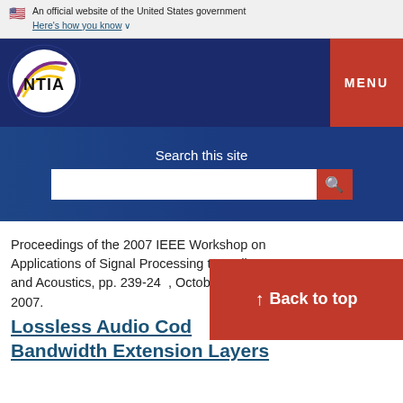An official website of the United States government
Here's how you know ∨
[Figure (logo): NTIA logo - circular design with yellow and purple swoosh lines on white background with dark blue outer ring, NTIA text in black bold on white]
MENU
Search this site
Proceedings of the 2007 IEEE Workshop on Applications of Signal Processing to Audio and Acoustics, pp. 239-242, October 21-24, 2007.
Lossless Audio Cod... Bandwidth Extension Layers
↑ Back to top